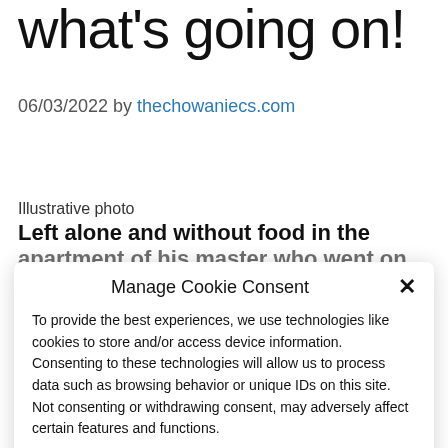what's going on!
06/03/2022 by thechowaniecs.com
Illustrative photo
Left alone and without food in the apartment of his master who went on...
Manage Cookie Consent
To provide the best experiences, we use technologies like cookies to store and/or access device information. Consenting to these technologies will allow us to process data such as browsing behavior or unique IDs on this site. Not consenting or withdrawing consent, may adversely affect certain features and functions.
Accept
Cookie Policy